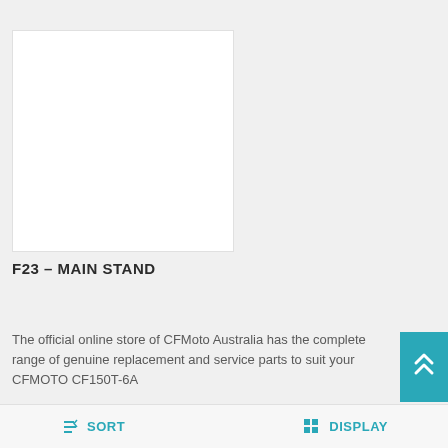[Figure (photo): White empty product image placeholder box]
F23 – MAIN STAND
The official online store of CFMoto Australia has the complete range of genuine replacement and service parts to suit your CFMOTO CF150T-6A
SORT   DISPLAY